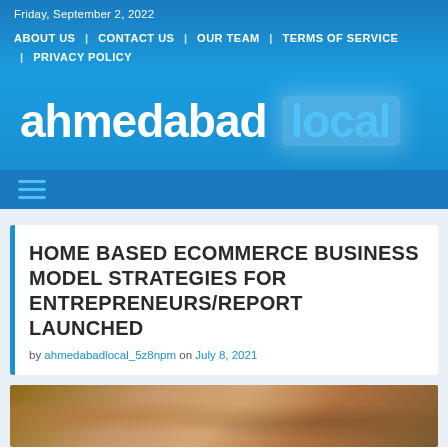Friday, September 2, 2022
ABOUT US | CONTACT US | OUR TEAM | TERMS OF SERVICE | PRIVACY POLICY
[Figure (logo): ahmedabad local website logo in white and light blue on blue background]
HOME BASED ECOMMERCE BUSINESS MODEL STRATEGIES FOR ENTREPRENEURS/REPORT LAUNCHED
by ahmedabadlocal_5z8npm on July 8, 2021
[Figure (photo): Partial photo strip at bottom of article card, appears to show people]